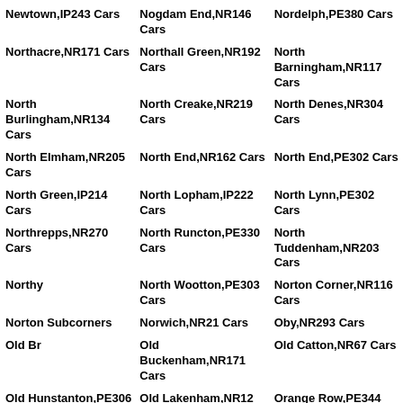Newtown,IP243 Cars
Nogdam End,NR146 Cars
Nordelph,PE380 Cars
Northacre,NR171 Cars
Northall Green,NR192 Cars
North Barningham,NR117 Cars
North Burlingham,NR134 Cars
North Creake,NR219 Cars
North Denes,NR304 Cars
North Elmham,NR205 Cars
North End,NR162 Cars
North End,PE302 Cars
North Green,IP214 Cars
North Lopham,IP222 Cars
North Lynn,PE302 Cars
Northrepps,NR270 Cars
North Runcton,PE330 Cars
North Tuddenham,NR203 Cars
North Wootton,PE303 Cars
Norton Corner,NR116 Cars
Norwich,NR21 Cars
Oby,NR293 Cars
Old Buckenham,NR171 Cars
Old Catton,NR67 Cars
Old Hunstanton,PE306 Cars
Old Lakenham,NR12 Cars
Orange Row,PE344 Cars
Ormesby St